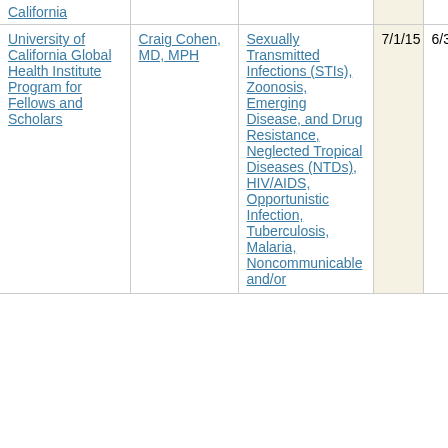| Institution | PI | Research Areas | Start | End |
| --- | --- | --- | --- | --- |
| California |  |  |  |  |
| University of California Global Health Institute Program for Fellows and Scholars | Craig Cohen, MD, MPH | Sexually Transmitted Infections (STIs), Zoonosis, Emerging Disease, and Drug Resistance, Neglected Tropical Diseases (NTDs), HIV/AIDS, Opportunistic Infection, Tuberculosis, Malaria, Noncommunicable and/or | 7/1/15 | 6/30/17 |